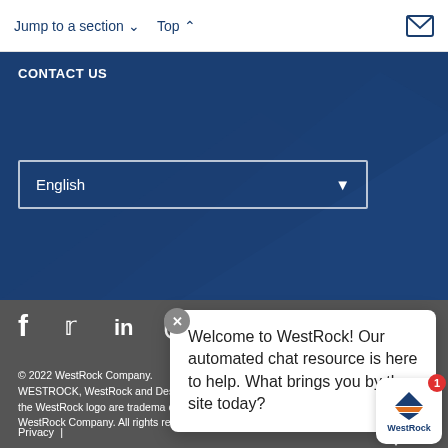Jump to a section ∨   Top ∧
CONTACT US
English
[Figure (screenshot): Social media icons row: Facebook, Twitter, LinkedIn, Instagram, YouTube]
© 2022 WestRock Company. WESTROCK, WestRock and Design, and the WestRock logo are trademarks of WestRock Company. All rights reserved.
Privacy |
Welcome to WestRock! Our automated chat resource is here to help. What brings you by the site today?